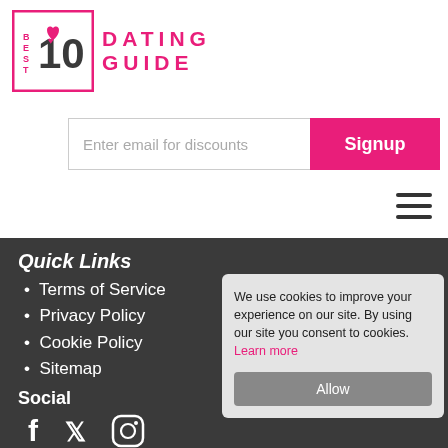[Figure (logo): Best 10 Dating Guide logo with pink border box containing '10' with heart icon, and text 'DATING GUIDE' in pink to the right]
[Figure (other): Email signup bar with placeholder 'Enter email for discounts' and a pink 'Signup' button]
[Figure (other): Hamburger menu icon (three horizontal lines)]
Quick Links
Terms of Service
Privacy Policy
Cookie Policy
Sitemap
Social
[Figure (other): Social media icons: Facebook, Twitter, Instagram]
Don't Miss Out
We use cookies to improve your experience on our site. By using our site you consent to cookies. Learn more
Allow